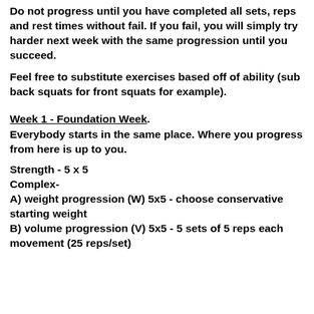Do not progress until you have completed all sets, reps and rest times without fail. If you fail, you will simply try harder next week with the same progression until you succeed.
Feel free to substitute exercises based off of ability (sub back squats for front squats for example).
Week 1 - Foundation Week.
Everybody starts in the same place. Where you progress from here is up to you.
Strength - 5 x 5
Complex-
A) weight progression (W) 5x5 - choose conservative starting weight
B) volume progression (V) 5x5 - 5 sets of 5 reps each movement (25 reps/set)